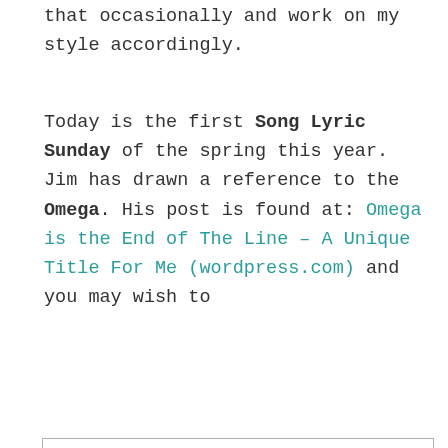that occasionally and work on my style accordingly.
Today is the first Song Lyric Sunday of the spring this year. Jim has drawn a reference to the Omega. His post is found at: Omega is the End of The Line – A Unique Title For Me (wordpress.com) and you may wish to
Privacy & Cookies: This site uses cookies. By continuing to use this website, you agree to their use. To find out more, including how to control cookies, see here: Cookie Policy
Close and accept
overwhelm, and the beta male needs